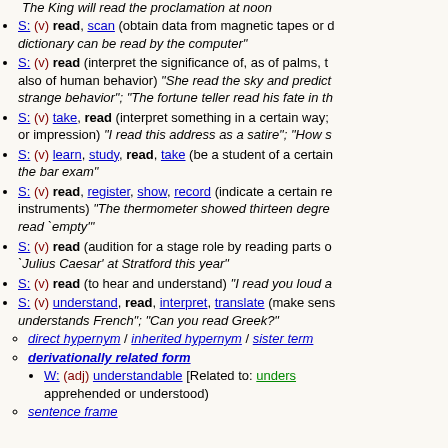The King will read the proclamation at noon
S: (v) read, scan (obtain data from magnetic tapes or d... dictionary can be read by the computer"
S: (v) read (interpret the significance of, as of palms, t... also of human behavior) "She read the sky and predict... strange behavior"; "The fortune teller read his fate in th...
S: (v) take, read (interpret something in a certain way;... or impression) "I read this address as a satire"; "How s...
S: (v) learn, study, read, take (be a student of a certain... the bar exam"
S: (v) read, register, show, record (indicate a certain re... instruments) "The thermometer showed thirteen degre... read `empty'"
S: (v) read (audition for a stage role by reading parts o... `Julius Caesar' at Stratford this year"
S: (v) read (to hear and understand) "I read you loud a...
S: (v) understand, read, interpret, translate (make sens... understands French"; "Can you read Greek?"
direct hypernym / inherited hypernym / sister term
derivationally related form
W: (adj) understandable [Related to: unders... apprehended or understood)
sentence frame